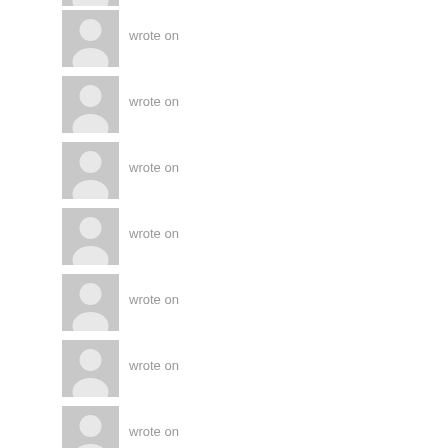[Figure (illustration): Partial avatar placeholder icon (top cropped) with grey silhouette of a person]
wrote on
[Figure (illustration): Avatar placeholder icon with grey silhouette of a person on grey background]
wrote on
[Figure (illustration): Avatar placeholder icon with grey silhouette of a person on grey background]
wrote on
[Figure (illustration): Avatar placeholder icon with grey silhouette of a person on grey background]
wrote on
[Figure (illustration): Avatar placeholder icon with grey silhouette of a person on grey background]
wrote on
[Figure (illustration): Avatar placeholder icon with grey silhouette of a person on grey background]
wrote on
[Figure (illustration): Avatar placeholder icon with grey silhouette of a person on grey background]
wrote on
[Figure (illustration): Avatar placeholder icon with grey silhouette of a person on grey background (partially cut off at bottom)]
wrote on